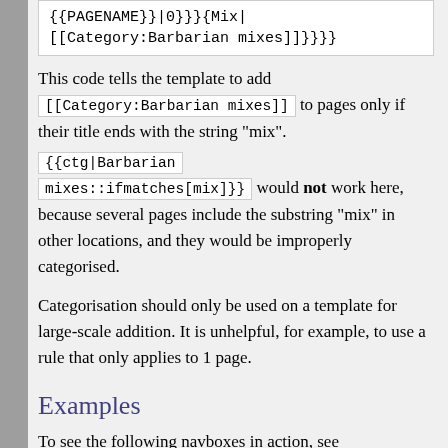{{PAGENAME}}|0}}}{Mix|
[[Category:Barbarian mixes]]}}}
This code tells the template to add [[Category:Barbarian mixes]] to pages only if their title ends with the string "mix".
{{ctg|Barbarian mixes::ifmatches[mix]}} would not work here, because several pages include the substring "mix" in other locations, and they would be improperly categorised.
Categorisation should only be used on a template for large-scale addition. It is unhelpful, for example, to use a rule that only applies to 1 page.
Examples
To see the following navboxes in action, see